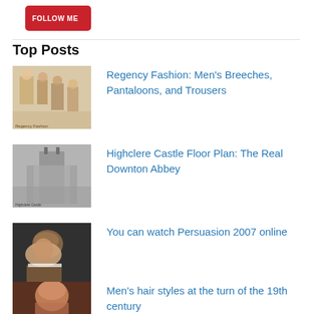[Figure (logo): Follow me on Pinterest button — red rounded rectangle with white text 'FOLLOW ME ON' and Pinterest script logo]
Top Posts
[Figure (photo): Thumbnail image of Regency era fashion illustration with figures in period dress]
Regency Fashion: Men's Breeches, Pantaloons, and Trousers
[Figure (photo): Thumbnail image of Highclere Castle in misty/grey tones]
Highclere Castle Floor Plan: The Real Downton Abbey
[Figure (photo): Thumbnail image of a woman with curly hair in profile view]
You can watch Persuasion 2007 online
[Figure (photo): Thumbnail image of a man with reddish hair in period portrait style]
Men's hair styles at the turn of the 19th century